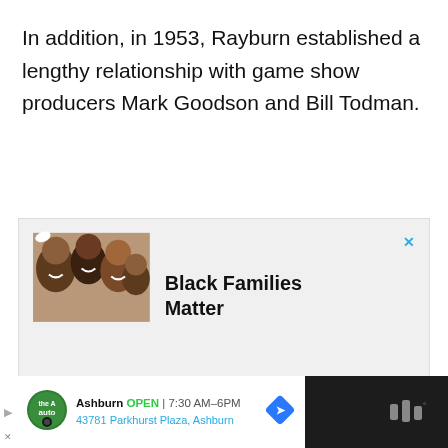In addition, in 1953, Rayburn established a lengthy relationship with game show producers Mark Goodson and Bill Todman.
[Figure (infographic): Advertisement banner with photo of smiling Black family looking down at camera, with text 'Black Families Matter' and a close (X) button in cyan.]
Ashburn OPEN 7:30 AM–6PM 43781 Parkhurst Plaza, Ashburn